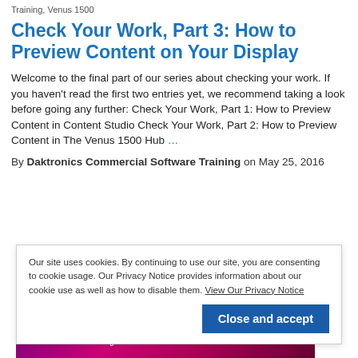Training, Venus 1500
Check Your Work, Part 3: How to Preview Content on Your Display
Welcome to the final part of our series about checking your work. If you haven't read the first two entries yet, we recommend taking a look before going any further: Check Your Work, Part 1: How to Preview Content in Content Studio Check Your Work, Part 2: How to Preview Content in The Venus 1500 Hub …
By Daktronics Commercial Software Training on May 25, 2016
Our site uses cookies. By continuing to use our site, you are consenting to cookie usage. Our Privacy Notice provides information about our cookie use as well as how to disable them. View Our Privacy Notice
[Figure (screenshot): Partial view of a Mother's Day promotional display image with pink/purple background and white text]